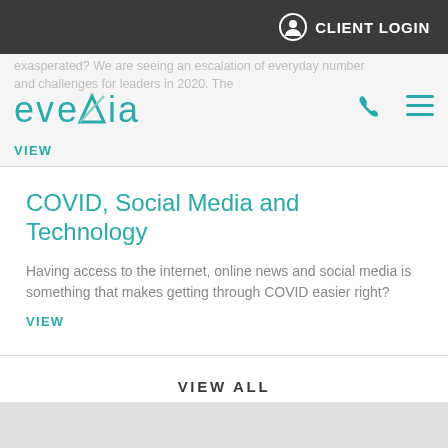CLIENT LOGIN
[Figure (logo): Evexia logo with teal text and triangle graphic]
exasperated? We are seeing an escalation of everyday number and challenges for leaders in 2020. The VIEW
COVID, Social Media and Technology
Having access to the internet, online news and social media is something that makes getting through COVID easier right?
VIEW
VIEW ALL